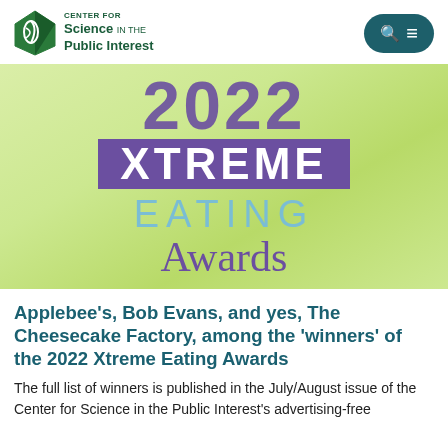CENTER FOR Science IN THE Public Interest
[Figure (illustration): 2022 Xtreme Eating Awards logo on a green gradient background. Large purple '2022' at top, 'XTREME' in white on purple rectangle, 'EATING' in light blue, 'Awards' in purple script below.]
Applebee's, Bob Evans, and yes, The Cheesecake Factory, among the 'winners' of the 2022 Xtreme Eating Awards
The full list of winners is published in the July/August issue of the Center for Science in the Public Interest's advertising-free